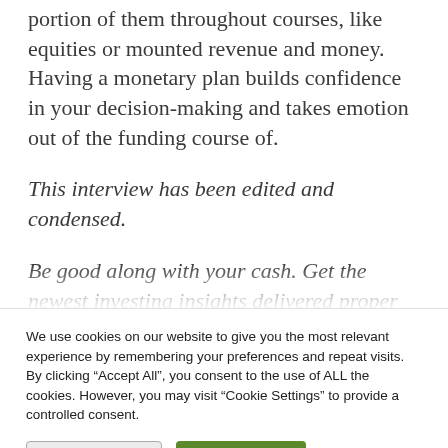portion of them throughout courses, like equities or mounted revenue and money. Having a monetary plan builds confidence in your decision-making and takes emotion out of the funding course of.
This interview has been edited and condensed.
Be good along with your cash. Get the newest investing insights delivered proper to your inbox.
We use cookies on our website to give you the most relevant experience by remembering your preferences and repeat visits. By clicking “Accept All”, you consent to the use of ALL the cookies. However, you may visit “Cookie Settings” to provide a controlled consent.